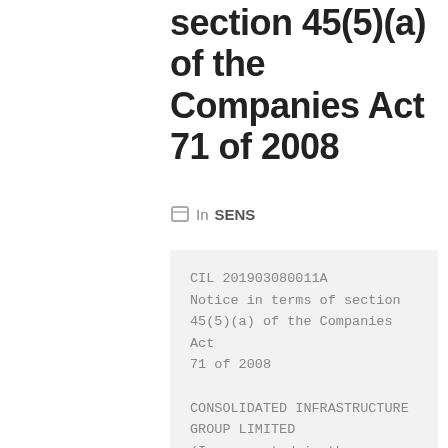section 45(5)(a) of the Companies Act 71 of 2008
In SENS
CIL 201903080011A
Notice in terms of section 45(5)(a) of the Companies Act 71 of 2008

CONSOLIDATED INFRASTRUCTURE GROUP LIMITED
(Incorporated in the Republic of South Africa)
(Registration number 2007/004935/06)
JSE share code: CIL ISIN: